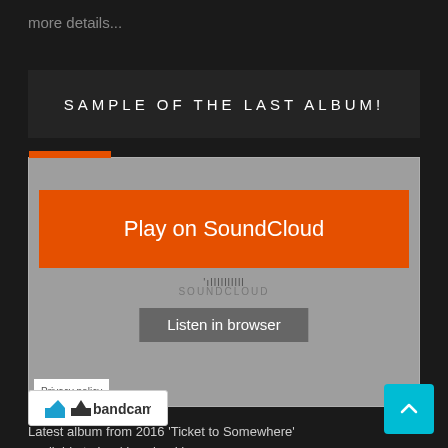more details...
SAMPLE OF THE LAST ALBUM!
[Figure (screenshot): SoundCloud embedded player widget with orange 'Play on SoundCloud' button and grey 'Listen in browser' button on grey background]
Latest album from 2016 'Ticket to Somewhere' available to buy/download here:
[Figure (logo): Bandcamp logo button - white rectangular button with black bandcamp logo and text]
[Figure (other): Teal/cyan back-to-top button with upward arrow in bottom right corner]